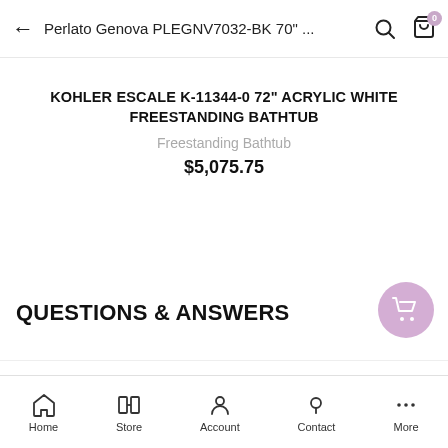← Perlato Genova PLEGNV7032-BK 70" ...
KOHLER ESCALE K-11344-0 72" ACRYLIC WHITE FREESTANDING BATHTUB
Freestanding Bathtub
$5,075.75
QUESTIONS & ANSWERS
Have a Question?
Be the first to ask a question about this.
Home  Store  Account  Contact  More